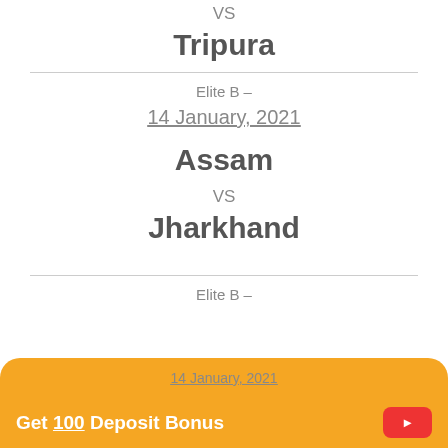VS
Tripura
Elite B –
14 January, 2021
Assam
VS
Jharkhand
Elite B –
14 January, 2021
Get 100 Deposit Bonus